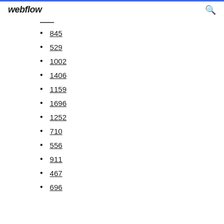webflow
845
529
1002
1406
1159
1696
1252
710
556
911
467
696